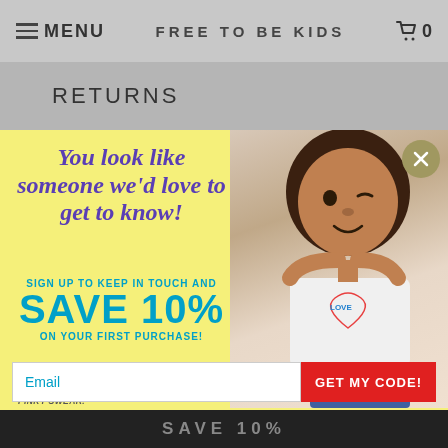MENU  FREE TO BE KIDS  0
RETURNS
[Figure (screenshot): Popup modal on Free To Be Kids website with yellow background, photo of a child wearing a Love t-shirt, promotional text and email signup form]
You look like someone we'd love to get to know!
SIGN UP TO KEEP IN TOUCH AND SAVE 10% ON YOUR FIRST PURCHASE!
AS OUR NEWEST BFF, YOU'LL BE FIRST TO HEAR ABOUT SALES AND NEW DESIGNS. PINKY SWEAR.
Email
GET MY CODE!
SAVE 10%